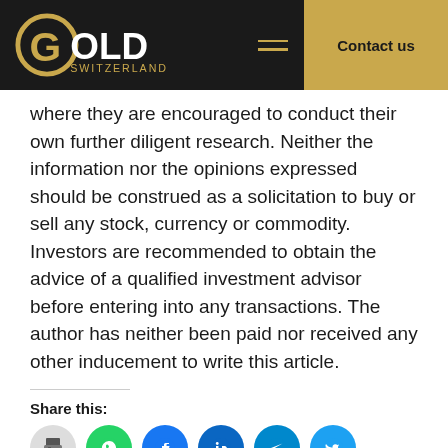Gold Switzerland — Contact us
where they are encouraged to conduct their own further diligent research. Neither the information nor the opinions expressed should be construed as a solicitation to buy or sell any stock, currency or commodity. Investors are recommended to obtain the advice of a qualified investment advisor before entering into any transactions. The author has neither been paid nor received any other inducement to write this article.
Share this: